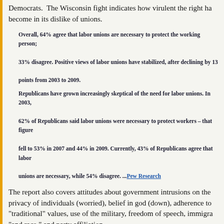Democrats. The Wisconsin fight indicates how virulent the right has become in its dislike of unions.
Overall, 64% agree that labor unions are necessary to protect the working person; 33% disagree. Positive views of labor unions have stabilized, after declining by 13 points from 2003 to 2009.
Republicans have grown increasingly skeptical of the need for labor unions. In 2003, 62% of Republicans said labor unions were necessary to protect workers – that figure fell to 53% in 2007 and 44% in 2009. Currently, 43% of Republicans agree that labor unions are necessary, while 54% disagree. ...Pew Research
The report also covers attitudes about government intrusions on the privacy of individuals (worried), belief in god (down), adherence to "traditional" values, use of the military, freedom of speech, immigra "and race," and party affiliation.
... The percentage of self-described Democrats has fallen from 36% four years ago to 32% today. Republican identification has remained largely stable over this period (24% today, 25% in 2008). In 1991, however, there were nearly equal percentages of Republicans (31%), Democrats (31%) and independents (33%).